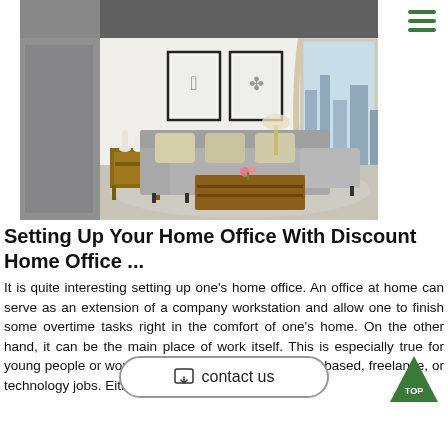[Figure (photo): A modern living room with a grey sectional sofa, wooden coffee table with shelving, side table, framed artwork on the wall, large window with city view, and decorative vases.]
Setting Up Your Home Office With Discount Home Office ...
It is quite interesting setting up one's home office. An office at home can serve as an extension of a company workstation and allow one to finish some overtime tasks right in the comfort of one's home. On the other hand, it can be the main place of work itself. This is especially true for young people or working mothers who are into home-based, freelance, or technology jobs. Either .